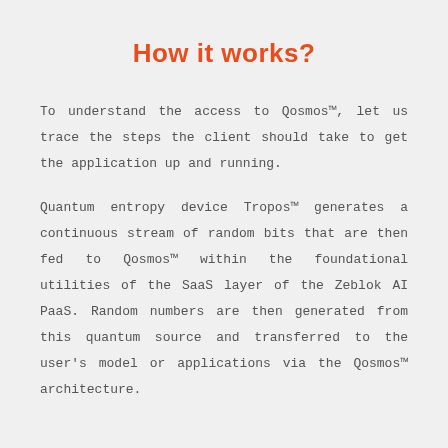How it works?
To understand the access to Qosmos™, let us trace the steps the client should take to get the application up and running.
Quantum entropy device Tropos™ generates a continuous stream of random bits that are then fed to Qosmos™ within the foundational utilities of the SaaS layer of the Zeblok AI PaaS. Random numbers are then generated from this quantum source and transferred to the user's model or applications via the Qosmos™ architecture.